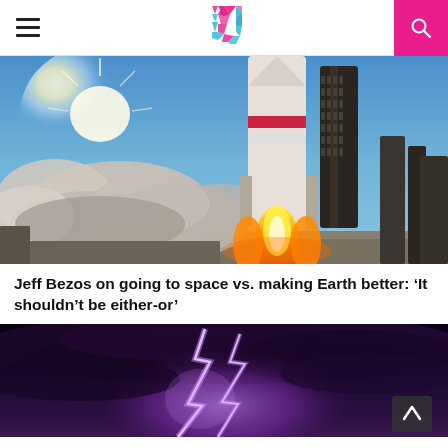Navigation header with hamburger menu, C logo, and search button
[Figure (photo): Rocket launch with large flames and smoke clouds, bright sunlight in background, tall rocket on launch pad]
Jeff Bezos on going to space vs. making Earth better: ‘It shouldn’t be either-or’
[Figure (photo): Lightning bolt striking during a storm, purple/pink dramatic sky with dark clouds]